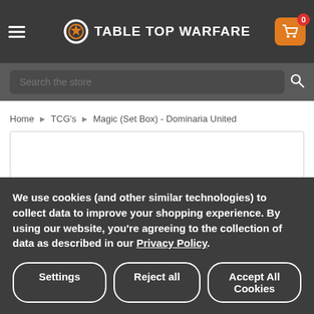TABLE TOP WARFARE
Search the store
Home ▸ TCG's ▸ Magic (Set Box) - Dominaria United
[Figure (screenshot): Product placeholder box, empty white rectangle with border]
[Figure (photo): Magic: The Gathering Dominaria United Set Box product thumbnail image]
We use cookies (and other similar technologies) to collect data to improve your shopping experience. By using our website, you're agreeing to the collection of data as described in our Privacy Policy.
Settings | Reject all | Accept All Cookies